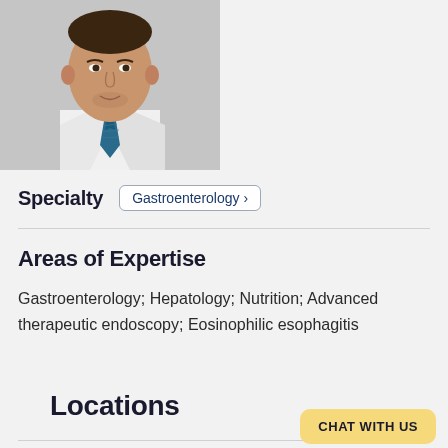[Figure (photo): Professional headshot of a male doctor wearing a white dress shirt and blue/teal patterned tie, photographed against a grey background.]
Specialty   Gastroenterology ›
Areas of Expertise
Gastroenterology; Hepatology; Nutrition; Advanced therapeutic endoscopy; Eosinophilic esophagitis
Locations
CHAT WITH US